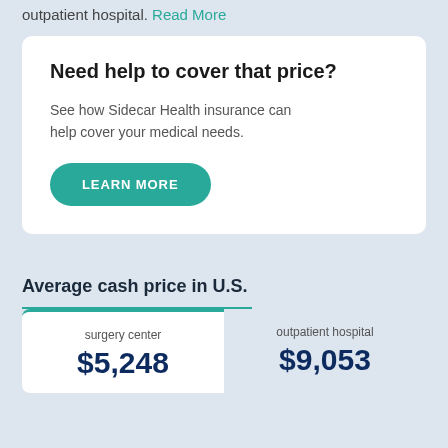outpatient hospital. Read More
Need help to cover that price?
See how Sidecar Health insurance can help cover your medical needs.
LEARN MORE
Average cash price in U.S.
| surgery center | outpatient hospital |
| --- | --- |
| $5,248 | $9,053 |